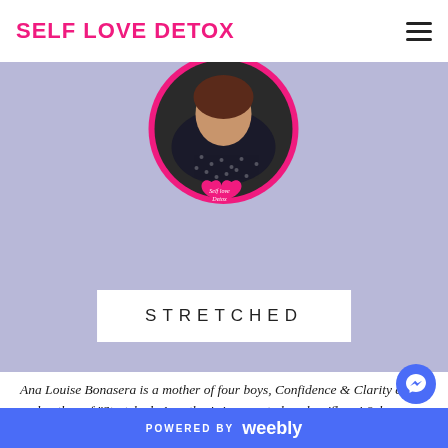SELF LOVE DETOX
[Figure (photo): Profile photo of Ana Louise Bonasera in a circular frame with pink border, with a pink heart-shaped 'Self Love Detox' logo badge overlaid at the bottom center. Background is lavender/periwinkle.]
STRETCHED
Ana Louise Bonasera is a mother of four boys, Confidence & Clarity coach and author of "Stretched: A mother's journey to love her 'flaws' & how you can too"
After hating her body for the majority of her life, when she became a mother at 20 years old she found he...
POWERED BY weebly